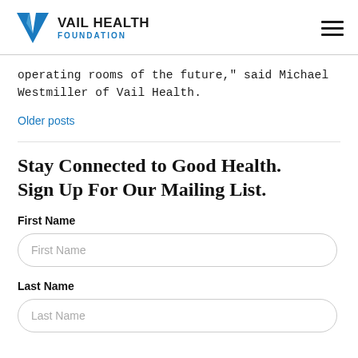Vail Health Foundation
operating rooms of the future," said Michael Westmiller of Vail Health.
Older posts
Stay Connected to Good Health. Sign Up For Our Mailing List.
First Name
First Name
Last Name
Last Name